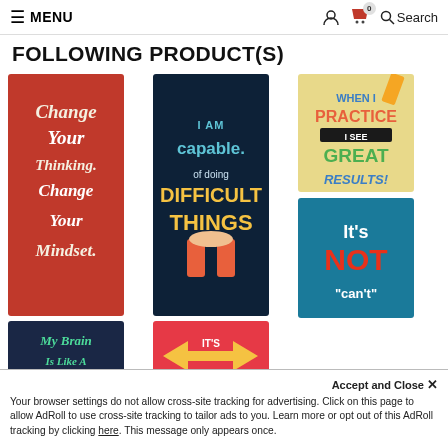MENU | Search
FOLLOWING PRODUCT(S)
[Figure (photo): Six motivational classroom posters: 'Change Your Thinking Change Your Mindset' (red), 'I Am Capable of Doing Difficult Things' (dark), 'When I Practice I See Great Results!' (yellow/tan), 'My Brain Is Like A Muscle' (dark blue), 'It's Not...' (red/multicolor), 'It's Not...' (teal)]
Accept and Close ✕
Your browser settings do not allow cross-site tracking for advertising. Click on this page to allow AdRoll to use cross-site tracking to tailor ads to you. Learn more or opt out of this AdRoll tracking by clicking here. This message only appears once.